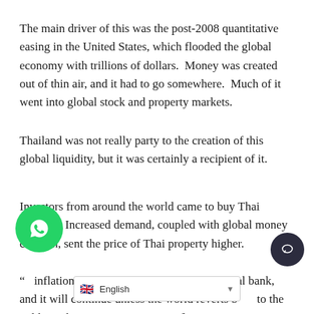The main driver of this was the post-2008 quantitative easing in the United States, which flooded the global economy with trillions of dollars.  Money was created out of thin air, and it had to go somewhere.  Much of it went into global stock and property markets.
Thailand was not really party to the creation of this global liquidity, but it was certainly a recipient of it.
Investors from around the world came to buy Thai property. Increased demand, coupled with global money creation, sent the price of Thai property higher.
“P inflation is the target of almost every central bank, and it will continue unless the world reverts back to the gold stand[ard] ... [any] time soon]